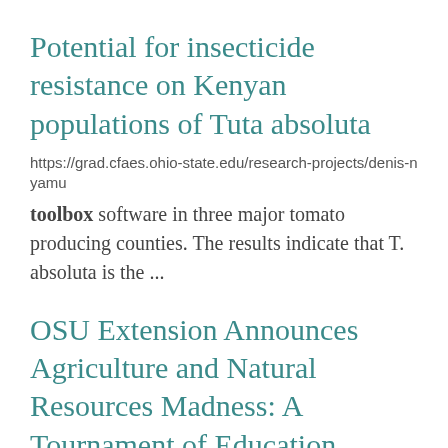Potential for insecticide resistance on Kenyan populations of Tuta absoluta
https://grad.cfaes.ohio-state.edu/research-projects/denis-nyamu
toolbox software in three major tomato producing counties. The results indicate that T. absoluta is the ...
OSU Extension Announces Agriculture and Natural Resources Madness: A Tournament of Education